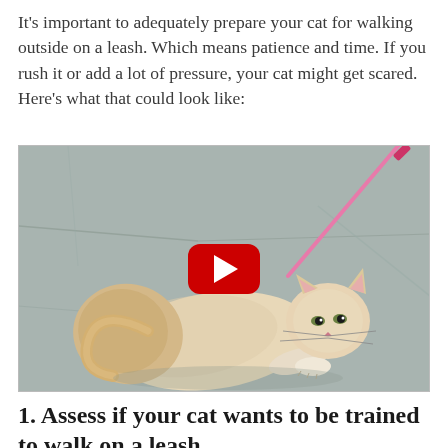It's important to adequately prepare your cat for walking outside on a leash. Which means patience and time. If you rush it or add a lot of pressure, your cat might get scared. Here's what that could look like:
[Figure (photo): A video thumbnail showing a fluffy cream/orange cat lying flat on a concrete surface with a pink leash attached, resisting walking. A red YouTube play button is overlaid in the center.]
1. Assess if your cat wants to be trained to walk on a leash